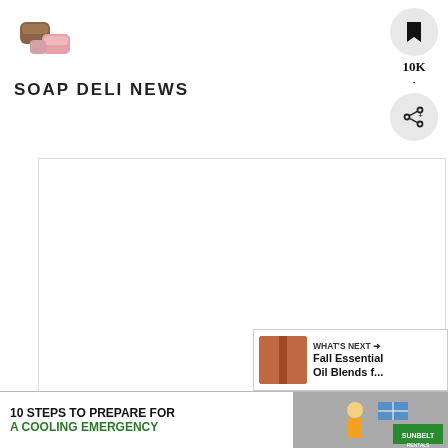[Figure (logo): Soap Deli News logo with illustrated soap bars and decorative text]
[Figure (other): Social share sidebar with save button showing 10K count and share icon]
[Figure (photo): Large white/blank image placeholder area]
Instructions
1. Weigh out the coconut oil and castor oil. Place into a non-aluminum stock pot.
2. Heat the soap making oils over me...
[Figure (infographic): What's Next panel showing Fall Essential Oil Blends f... with thumbnail]
[Figure (infographic): Advertisement banner: 10 STEPS TO PREPARE FOR A COOLING EMERGENCY with Sunbelt Rentals branding]